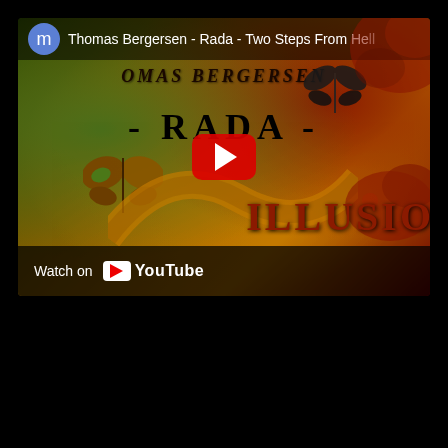[Figure (screenshot): YouTube video embed showing Thomas Bergersen - Rada - Two Steps From Hell music video thumbnail. The thumbnail has a dark golden/orange background with butterflies and red splashes. Text on thumbnail reads 'THOMAS BERGERSEN' at the top, '- RADA -' in the middle-left, and 'ILLUSION' at the bottom-right. A YouTube play button (red rounded rectangle with white triangle) is centered on the video. The top bar shows a blue 'm' avatar circle and the title 'Thomas Bergersen - Rada - Two Steps From He...' The bottom bar shows 'Watch on' and the YouTube logo in white on dark background. The surrounding page is black.]